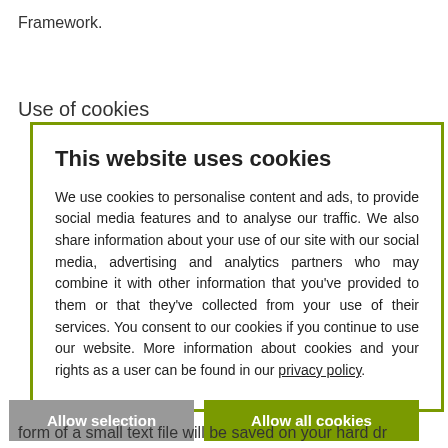Framework.
Use of cookies
[Figure (screenshot): Cookie consent modal dialog with green border. Title: 'This website uses cookies'. Body text explains cookie usage and links to privacy policy. Two buttons: 'Allow selection' (grey) and 'Allow all cookies' (green). Footer row with checkboxes for Necessary, Preferences, Statistics, Marketing, and a 'Show details' dropdown.]
form of a small text file will be saved on your hard dr